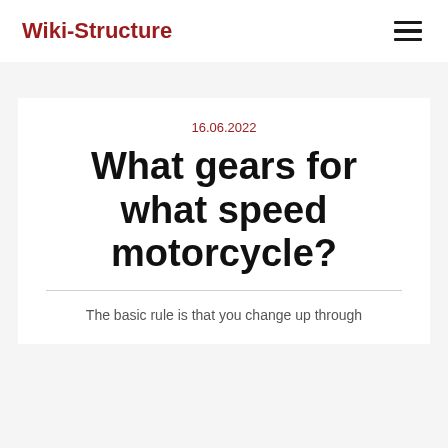Wiki-Structure
16.06.2022
What gears for what speed motorcycle?
The basic rule is that you change up through